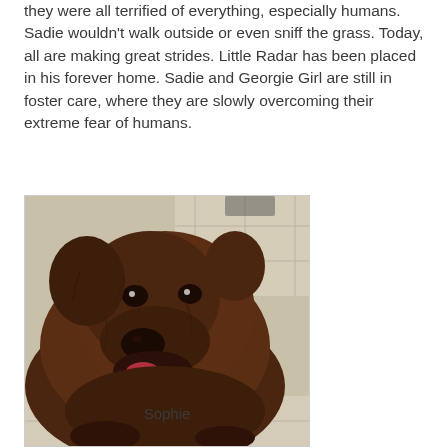they were all terrified of everything, especially humans. Sadie wouldn't walk outside or even sniff the grass. Today, all are making great strides. Little Radar has been placed in his forever home. Sadie and Georgie Girl are still in foster care, where they are slowly overcoming their extreme fear of humans.
[Figure (photo): A close-up photograph of a large brown/brindle dog (Sophie) looking upward with its mouth open slightly, sitting on a tiled floor.]
Sophie